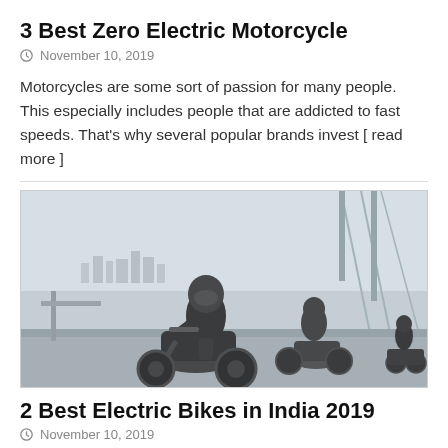3 Best Zero Electric Motorcycle
November 10, 2019
Motorcycles are some sort of passion for many people. This especially includes people that are addicted to fast speeds. That's why several popular brands invest [ read more ]
[Figure (photo): Two motorcyclists on electric motorcycles riding on a road, with a city skyline and bridge cables in the background. The rider in the foreground wears a black helmet and leather jacket.]
2 Best Electric Bikes in India 2019
November 10, 2019